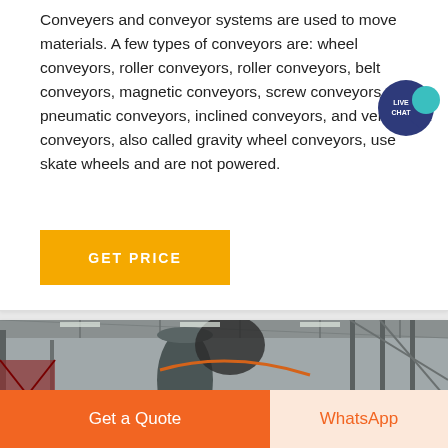Conveyers and conveyor systems are used to move materials. A few types of conveyors are: wheel conveyors, roller conveyors, roller conveyors, belt conveyors, magnetic conveyors, screw conveyors, pneumatic conveyors, inclined conveyors, and vertical conveyors, also called gravity wheel conveyors, use skate wheels and are not powered.
[Figure (other): Live Chat speech bubble icon — teal/dark blue circular badge with 'LIVE CHAT' text and chat bubble graphic]
[Figure (other): Yellow GET PRICE button]
[Figure (photo): Industrial warehouse interior with steel structure, conveyor machinery, silos/pipes, and overhead lighting]
[Figure (other): Bottom navigation bar with orange 'Get a Quote' button and light orange 'WhatsApp' button]